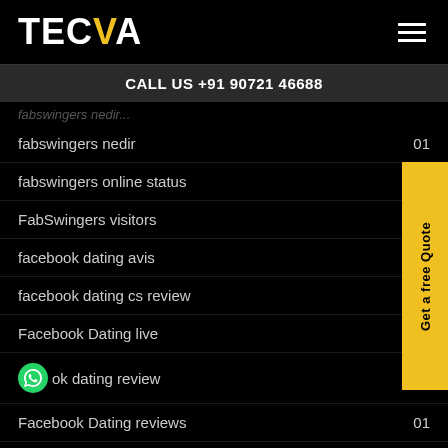[Figure (logo): TECVA logo with yellow V on black background, hamburger menu icon top right]
CALL US +91 90721 46688
fabswingers nedir 01
fabswingers online status 01
FabSwingers visitors
facebook dating avis
facebook dating cs review
Facebook Dating live
facebook dating review 02
Facebook Dating reviews 01
Facebook Dating visitors 01